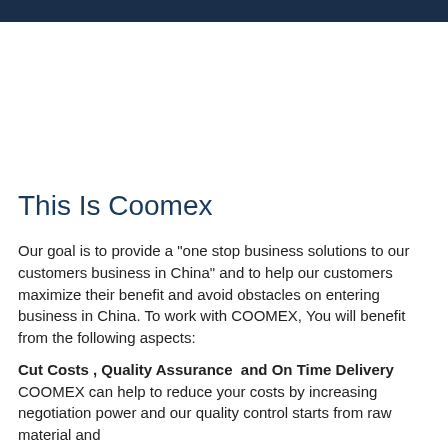This Is Coomex
Our goal is to provide a "one stop business solutions to our customers business in China" and to help our customers maximize their benefit and avoid obstacles on entering business in China. To work with COOMEX, You will benefit from the following aspects:
Cut Costs , Quality Assurance  and On Time Delivery
COOMEX can help to reduce your costs by increasing negotiation power and our quality control starts from raw material and